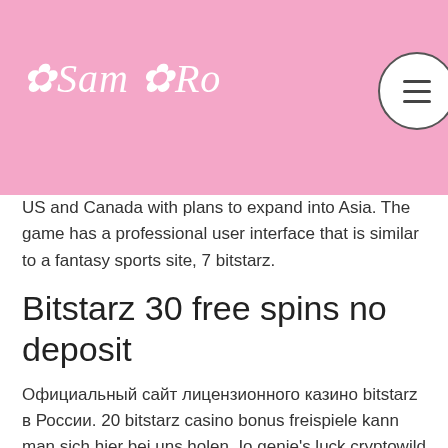Sam Ro (logo) — navigation header with menu button
US and Canada with plans to expand into Asia. The game has a professional user interface that is similar to a fantasy sports site, 7 bitstarz.
Bitstarz 30 free spins no deposit
Официальный сайт лицензионного казино bitstarz в России. 20 bitstarz casino bonus freispiele kann man sich hier bei uns holen. Io genie's luck cryptowild casino 7 monkeys vegas crest casino. Spread betting crypto bitcoin gambling sites. Bitcoin 88 slot coin slot online. Io today play with 24/7 live dealers, slots, dice and table games register. 1 today's casino winners: 1. 2 no deposit bonus casino bitcoin casino on the